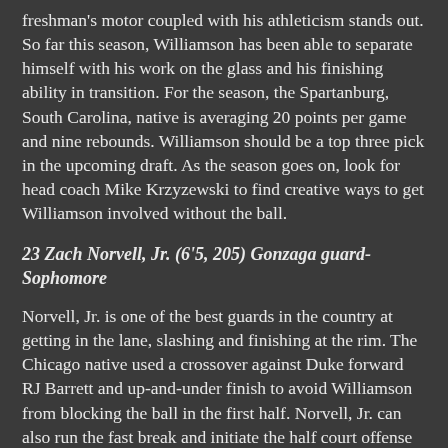freshman's motor coupled with his athleticism stands out. So far this season, Williamson has been able to separate himself with his work on the glass and his finishing ability in transition. For the season, the Spartanburg, South Carolina, native is averaging 20 points per game and nine rebounds. Williamson should be a top three pick in the upcoming draft. As the season goes on, look for head coach Mike Krzyzewski to find creative ways to get Williamson involved without the ball.
23 Zach Norvell, Jr. (6'5, 205) Gonzaga guard-Sophomore
Norvell, Jr. is one of the best guards in the country at getting in the lane, slashing and finishing at the rim. The Chicago native used a crossover against Duke forward RJ Barrett and up-and-under finish to avoid Williamson from blocking the ball in the first half. Norvell, Jr. can also run the fast break and initiate the half court offense with his ability to pass on the perimeter and into the post. The Gonzaga guard is shooting 42-percent from the field and 37-percent from beyond the arc. Standing 6-